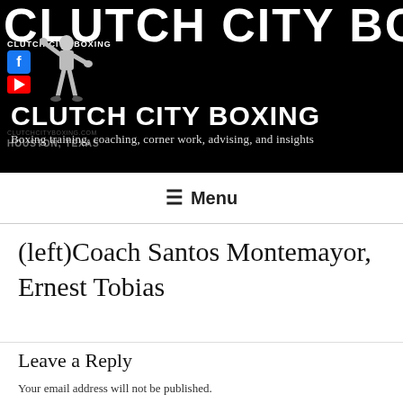[Figure (screenshot): Clutch City Boxing website header banner with black background, large white text 'CLUTCH CITY BOXING' at top, social media icons (Facebook, YouTube), a vintage boxer silhouette illustration, a main boxer photo on right, and subtitle text 'CLUTCH CITY BOXING - Boxing training, coaching, corner work, advising, and insights'. Also shows Houston, Texas location.]
≡ Menu
(left)Coach Santos Montemayor, Ernest Tobias
Leave a Reply
Your email address will not be published.